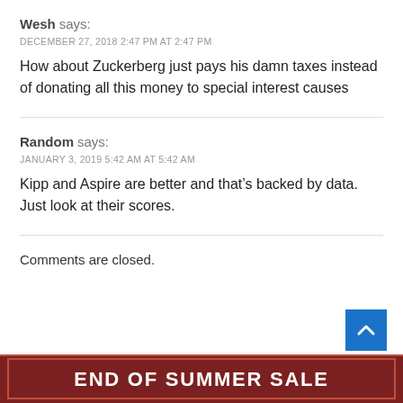Wesh says:
DECEMBER 27, 2018 2:47 PM AT 2:47 PM
How about Zuckerberg just pays his damn taxes instead of donating all this money to special interest causes
Random says:
JANUARY 3, 2019 5:42 AM AT 5:42 AM
Kipp and Aspire are better and that’s backed by data. Just look at their scores.
Comments are closed.
[Figure (other): END OF SUMMER SALE banner in dark red/maroon background with white bold text]